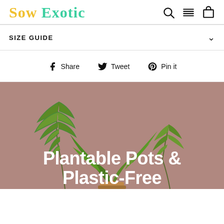Sow Exotic — navigation header with logo, search, menu, and cart icons
SIZE GUIDE
Share  Tweet  Pin it
[Figure (photo): Hero banner image with a mauve/dusty rose background showing green tropical plants (fern, staghorn fern) in pots. Large white bold text overlaid reads: Plantable Pots & Plastic-Free]
Plantable Pots & Plastic-Free